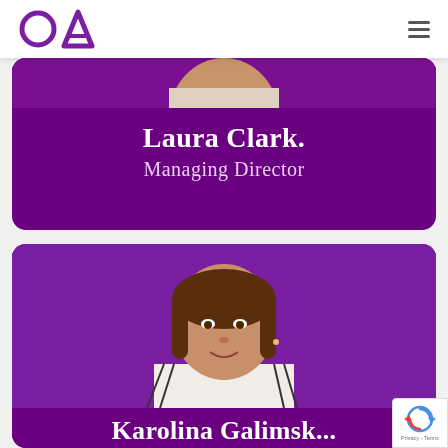[Figure (logo): OA company logo — purple circle with letter O and purple letter A]
[Figure (photo): Profile card for Laura Clark, Managing Director, on purple background]
Laura Clark.
Managing Director
[Figure (photo): Profile card for Karolina — woman with brown hair smiling on purple background]
Karolina Galimsk...